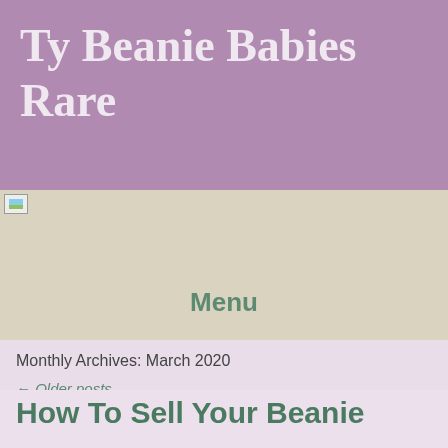Ty Beanie Babies Rare
[Figure (illustration): Small broken image placeholder icon in top-left of navigation/banner area]
Menu
Monthly Archives: March 2020
← Older posts
How To Sell Your Beanie